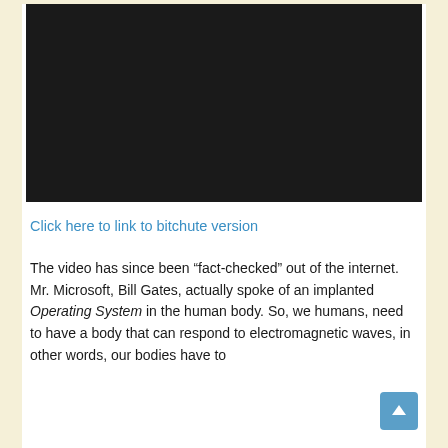[Figure (screenshot): A black video player embed, completely black/dark screen with no visible content]
Click here to link to bitchute version
The video has since been “fact-checked” out of the internet. Mr. Microsoft, Bill Gates, actually spoke of an implanted Operating System in the human body. So, we humans, need to have a body that can respond to electromagnetic waves, in other words, our bodies have to